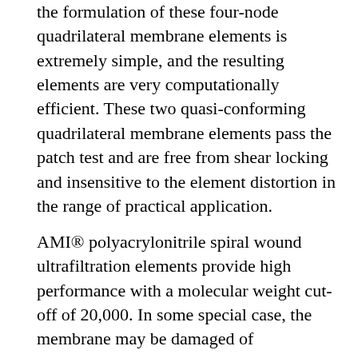the formulation of these four-node quadrilateral membrane elements is extremely simple, and the resulting elements are very computationally efficient. These two quasi-conforming quadrilateral membrane elements pass the patch test and are free from shear locking and insensitive to the element distortion in the range of practical application.
AMI® polyacrylonitrile spiral wound ultrafiltration elements provide high performance with a molecular weight cut-off of 20,000. In some special case, the membrane may be damaged of degradation reaction caused by active chlorine or other oxidizing agents. Membrane Solutions®RO products can resist